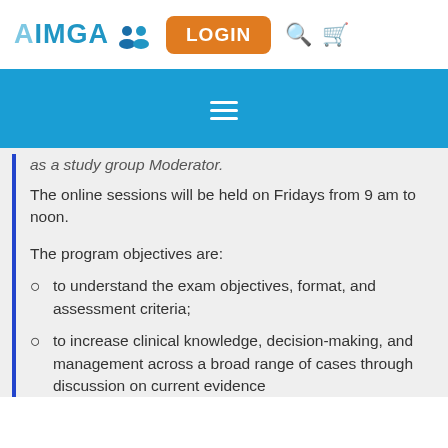AIMGA [icon] LOGIN [search] [cart]
as a study group Moderator.
The online sessions will be held on Fridays from 9 am to noon.
The program objectives are:
to understand the exam objectives, format, and assessment criteria;
to increase clinical knowledge, decision-making, and management across a broad range of cases through discussion on current evidence